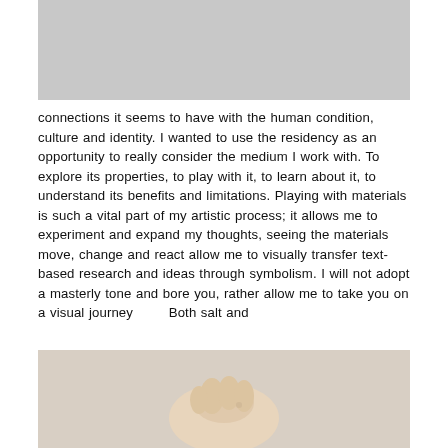[Figure (photo): Top portion of a photo, light gray background, appears to be part of a larger image cut off at top]
connections it seems to have with the human condition, culture and identity. I wanted to use the residency as an opportunity to really consider the medium I work with. To explore its properties, to play with it, to learn about it, to understand its benefits and limitations. Playing with materials is such a vital part of my artistic process; it allows me to experiment and expand my thoughts, seeing the materials move, change and react allow me to visually transfer text-based research and ideas through symbolism. I will not adopt a masterly tone and bore you, rather allow me to take you on a visual journey        Both salt and
[Figure (photo): Bottom portion of a photo showing a hand holding something, with a light beige/cream background]